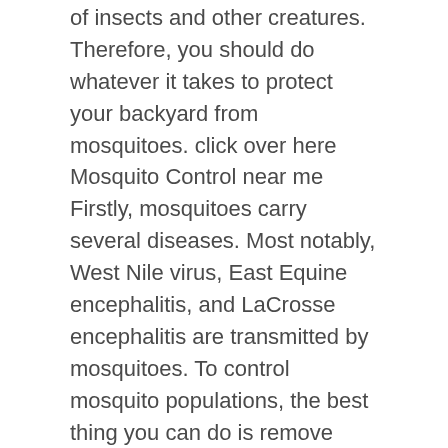of insects and other creatures. Therefore, you should do whatever it takes to protect your backyard from mosquitoes. click over here Mosquito Control near me  Firstly, mosquitoes carry several diseases. Most notably, West Nile virus, East Equine encephalitis, and LaCrosse encephalitis are transmitted by mosquitoes. To control mosquito populations, the best thing you can do is remove standing water and place a larvicide in the areas that have these sources of water. This way, mosquitoes will…
Read More
31 MAY 2022
Davidson regenerative medicine –